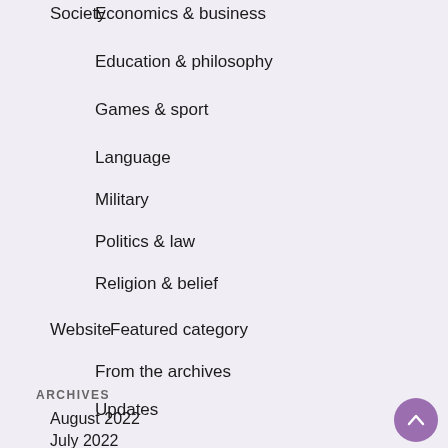Society
Economics & business
Education & philosophy
Games & sport
Language
Military
Politics & law
Religion & belief
Website
Featured category
From the archives
Updates
ARCHIVES
August 2022
July 2022